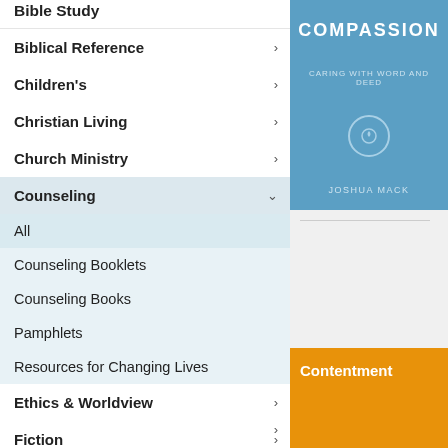Bible Study
Biblical Reference
Children's
Christian Living
Church Ministry
Counseling
All
Counseling Booklets
Counseling Books
Pamphlets
Resources for Changing Lives
Ethics & Worldview
Fiction
Reformed Traditions
[Figure (illustration): Book cover: Compassion by Joshua Mack, blue background with circular icon]
[Figure (illustration): Book cover: Contentment, orange background]